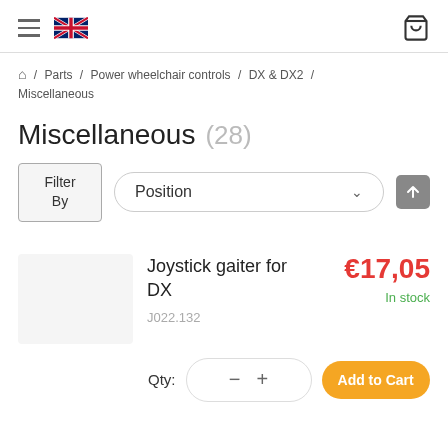Navigation header with hamburger menu, UK flag, and cart icon
Home / Parts / Power wheelchair controls / DX & DX2 / Miscellaneous
Miscellaneous (28)
Filter By  Position
Joystick gaiter for DX
€17,05
In stock
J022.132
Qty:  −  +  Add to Cart